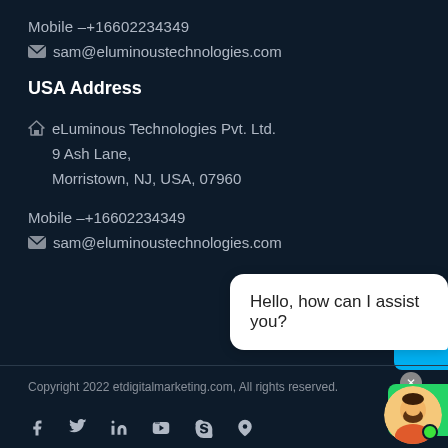Mobile –+16602234349
sam@eluminoustechnologies.com
USA Address
eLuminous Technologies Pvt. Ltd.
9 Ash Lane,
Morristown, NJ, USA, 07960
Mobile –+16602234349
sam@eluminoustechnologies.com
[Figure (screenshot): Skype widget button on right side]
[Figure (screenshot): WhatsApp chat bubble saying 'Hello, how can I assist you?' with close button and avatar]
Copyright 2022 etdigitalmarketing.com, All rights reserved.
[Figure (infographic): Social media icons: Facebook, Twitter, LinkedIn, YouTube, Skype, Location pin]